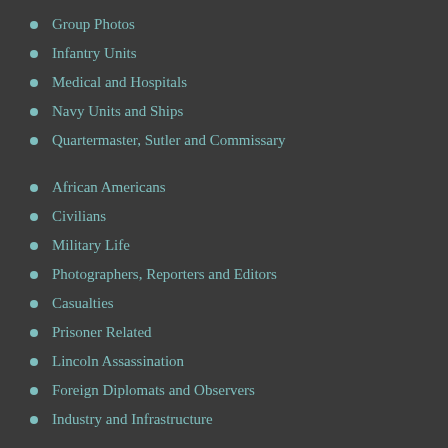Group Photos
Infantry Units
Medical and Hospitals
Navy Units and Ships
Quartermaster, Sutler and Commissary
African Americans
Civilians
Military Life
Photographers, Reporters and Editors
Casualties
Prisoner Related
Lincoln Assassination
Foreign Diplomats and Observers
Industry and Infrastructure
Antietam, MD
Atlanta, GA